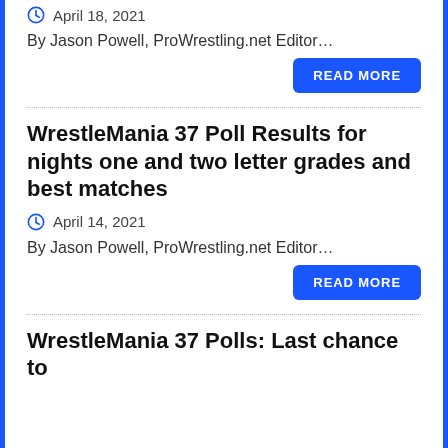April 18, 2021
By Jason Powell, ProWrestling.net Editor…
READ MORE
WrestleMania 37 Poll Results for nights one and two letter grades and best matches
April 14, 2021
By Jason Powell, ProWrestling.net Editor…
READ MORE
WrestleMania 37 Polls: Last chance to